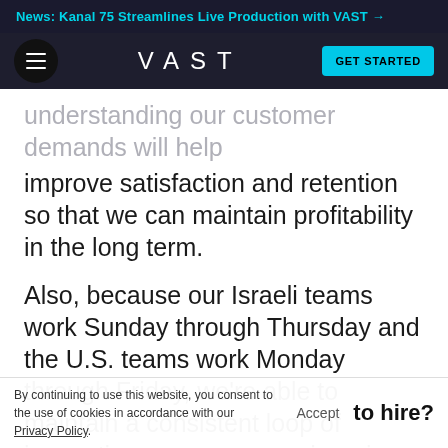News: Kanal 75 Streamlines Live Production with VAST →
[Figure (screenshot): VAST website navigation bar with hamburger menu, VAST logo, and GET STARTED button]
understanding our customer demands will help improve satisfaction and retention so that we can maintain profitability in the long term.
Also, because our Israeli teams work Sunday through Thursday and the U.S. teams work Monday through Friday, we're able to maintain a consistent loop of innovation across our engineering teams.
By continuing to use this website, you consent to the use of cookies in accordance with our Privacy Policy.